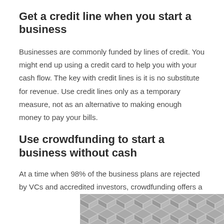Get a credit line when you start a business
Businesses are commonly funded by lines of credit. You might end up using a credit card to help you with your cash flow. The key with credit lines is it is no substitute for revenue. Use credit lines only as a temporary measure, not as an alternative to making enough money to pay your bills.
Use crowdfunding to start a business without cash
At a time when 98% of the business plans are rejected by VCs and accredited investors, crowdfunding offers a
[Figure (illustration): A geometric hexagonal tile pattern in grey and white tones, appearing at the bottom of the page as a decorative image.]